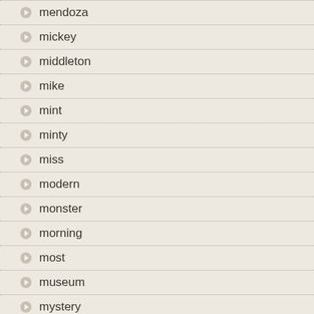mendoza
mickey
middleton
mike
mint
minty
miss
modern
monster
morning
most
museum
mystery
nancy
narae